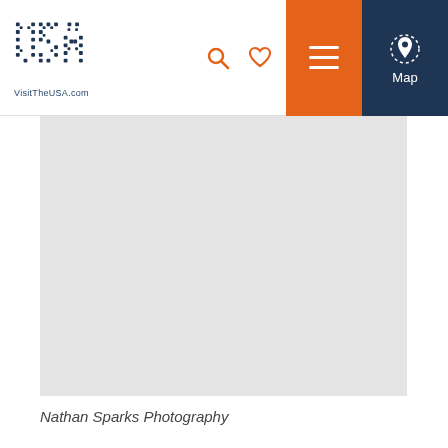VisitTheUSA.com
[Figure (photo): Large grey placeholder image area from VisitTheUSA.com website]
Nathan Sparks Photography